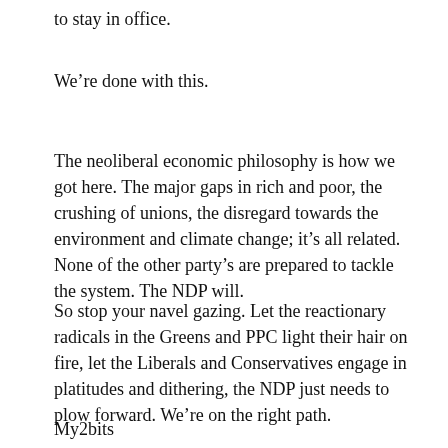to stay in office.
We’re done with this.
The neoliberal economic philosophy is how we got here. The major gaps in rich and poor, the crushing of unions, the disregard towards the environment and climate change; it’s all related. None of the other party’s are prepared to tackle the system. The NDP will.
So stop your navel gazing. Let the reactionary radicals in the Greens and PPC light their hair on fire, let the Liberals and Conservatives engage in platitudes and dithering, the NDP just needs to plow forward. We’re on the right path.
My2bits